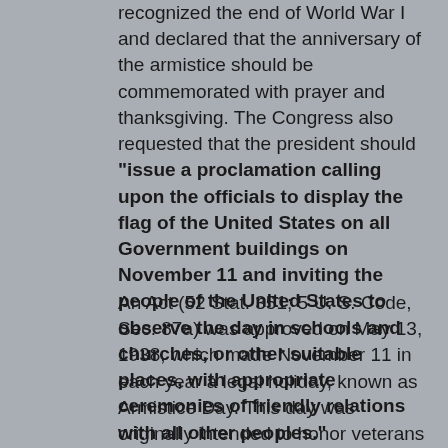recognized the end of World War I and declared that the anniversary of the armistice should be commemorated with prayer and thanksgiving. The Congress also requested that the president should "issue a proclamation calling upon the officials to display the flag of the United States on all Government buildings on November 11 and inviting the people of the United States to observe the day in schools and churches, or other suitable places, with appropriate ceremonies of friendly relations with all other peoples."
An Act (52 Stat. 351; 5 U. S. Code, Sec. 87a) was approved on May 13, 1938, which made November 11 in each year a legal holiday, known as Armistice Day. This day was originally intended to honor veterans of World War I. A few years later, World War II required the largest mobilization of service men in the history of the United States and the Act of Congress of 1938...